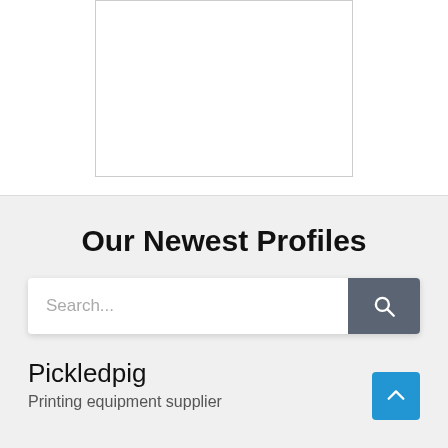[Figure (other): A white rectangular placeholder image box with a thin gray border]
Our Newest Profiles
[Figure (other): Search input field with placeholder text 'Search...' and a dark gray search button with magnifying glass icon]
Pickledpig
Printing equipment supplier